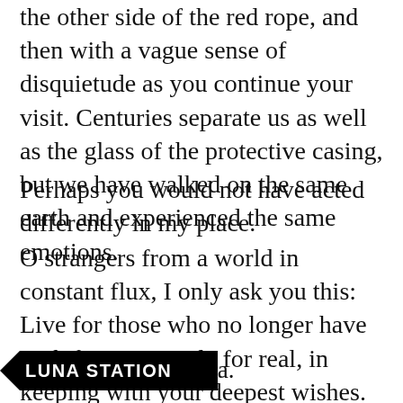the other side of the red rope, and then with a vague sense of disquietude as you continue your visit. Centuries separate us as well as the glass of the protective casing, but we have walked on the same earth and experienced the same emotions.
Perhaps you would not have acted differently in my place.
O strangers from a world in constant flux, I only ask you this: Live for those who no longer have such fortune. Smile for real, in keeping with your deepest wishes. And remember Madonna Lisa Gherardini, wife of Francesco del Giocondo.
Or simply Mona Lisa.
[Figure (logo): Luna Station logo — black background with white bold text 'LUNA STATION' and a left-pointing black arrow shape]